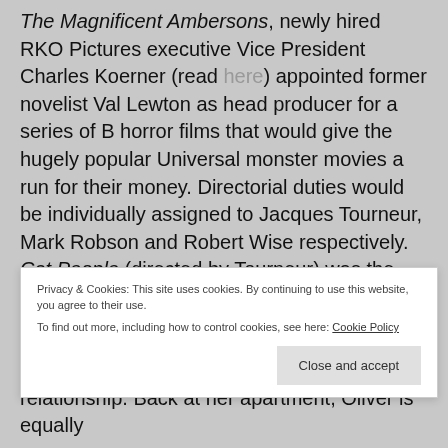The Magnificent Ambersons, newly hired RKO Pictures executive Vice President Charles Koerner (read here) appointed former novelist Val Lewton as head producer for a series of B horror films that would give the hugely popular Universal monster movies a run for their money. Directorial duties would be individually assigned to Jacques Tourneur, Mark Robson and Robert Wise respectively. Cat People (directed by Tourneur) was the first of the nine entries Lewton produced for that genre and today, it is generally (If quietly) recognized (and rightfully so) as one of the most influential horror films ever made.
Privacy & Cookies: This site uses cookies. By continuing to use this website, you agree to their use. To find out more, including how to control cookies, see here: Cookie Policy
relationship. Back at her apartment, Oliver is equally